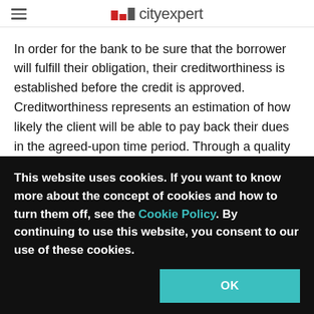cityexpert
In order for the bank to be sure that the borrower will fulfill their obligation, their creditworthiness is established before the credit is approved. Creditworthiness represents an estimation of how likely the client will be able to pay back their dues in the agreed-upon time period. Through a quality check of their clients' creditworthiness, the banks reduce risks of poor placements and build a quality portfolio for themselves.
This website uses cookies. If you want to know more about the concept of cookies and how to turn them off, see the Cookie Policy. By continuing to use this website, you consent to our use of these cookies.